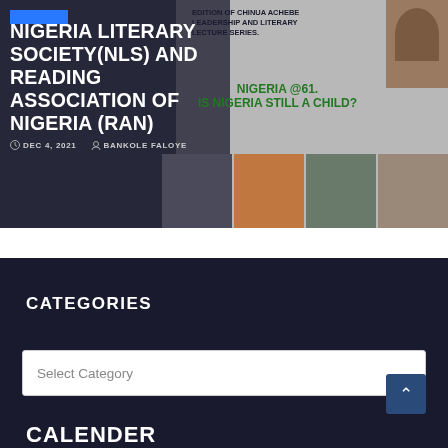[Figure (screenshot): Website card image showing a blog post thumbnail with overlaid white bold text reading 'NIGERIA LITERARY SOCIETY(NLS) AND READING ASSOCIATION OF NIGERIA (RAN)' on a dark background, with a poster visible on the right side showing 'IS NIGERIA STILL A CHILD?' in green text, portrait photos of speakers at the bottom, and a face in the top right corner.]
DEC 4, 2021
BANKOLE FALOYE
CATEGORIES
Select Category
CALENDER